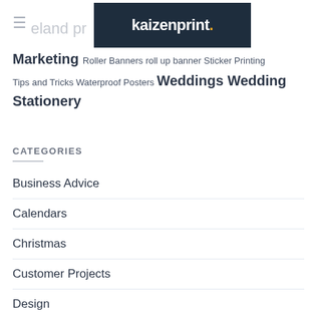kaizenprint.
Marketing Roller Banners roll up banner Sticker Printing Tips and Tricks Waterproof Posters Weddings Wedding Stationery
CATEGORIES
Business Advice
Calendars
Christmas
Customer Projects
Design
Marketing Your Business